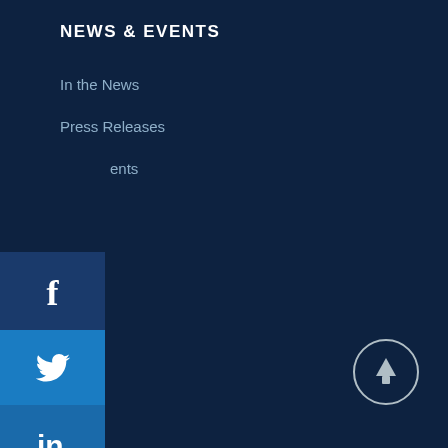NEWS & EVENTS
In the News
Press Releases
Events
[Figure (screenshot): Social media sharing sidebar with icons for Facebook (dark blue), Twitter (blue), LinkedIn (medium blue), and Email (grey)]
WHAT WE DO
Competitor Intelligence
Customer Intelligence
Market Intelligence
Channel Intelligence
INSIGHTS & PUBLICATIONS